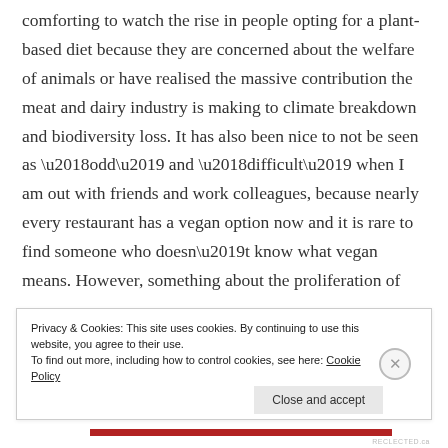comforting to watch the rise in people opting for a plant-based diet because they are concerned about the welfare of animals or have realised the massive contribution the meat and dairy industry is making to climate breakdown and biodiversity loss. It has also been nice to not be seen as ‘odd’ and ‘difficult’ when I am out with friends and work colleagues, because nearly every restaurant has a vegan option now and it is rare to find someone who doesn’t know what vegan means. However, something about the proliferation of
Privacy & Cookies: This site uses cookies. By continuing to use this website, you agree to their use.
To find out more, including how to control cookies, see here: Cookie Policy
Close and accept